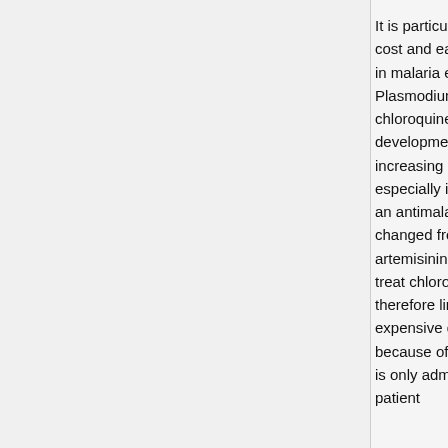It is particularly preferred because of its efficiency, stability, low cost and ease to manufacture (6). Chloroquine is used extensively in malaria endemic areas in Africa to treat uncomplicated Plasmodium falciparum malaria. However, the effectiveness of chloroquine has been decreasing because of the recent developments of resistance. Resistance to chloroquine cases is increasing at an alarming rate and it is spreading rapidly especially in the tropical countries where it is used extensively as an antimalarial drug (19). In the past years, drug of choice has changed from chloroquine to artemisinin. Despite the fact that artemisinin is expensive, it is the only drug that can effectively treat chloroquine resistant parasites. The use of artemisinin is therefore limited in developing countries as they cannot afford this expensive drug (15). The use of artemisinin is highly regulated because of the fear of the development of resistance. Artemesinin is only administered to a patients once it is confirmed that the patient